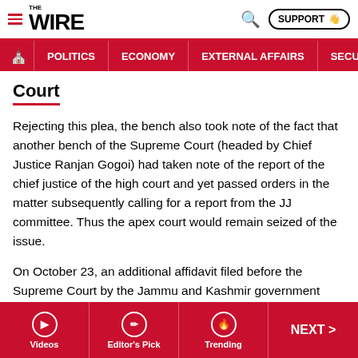THE WIRE — POLITICS | ECONOMY | EXTERNAL AFFAIRS | SECU...
Court
Rejecting this plea, the bench also took note of the fact that another bench of the Supreme Court (headed by Chief Justice Ranjan Gogoi) had taken note of the report of the chief justice of the high court and yet passed orders in the matter subsequently calling for a report from the JJ committee. Thus the apex court would remain seized of the issue.
On October 23, an additional affidavit filed before the Supreme Court by the Jammu and Kashmir government demanded that the petition be dismissed on the ground of
Videos | Editor's Pick | Trending | NEXT >